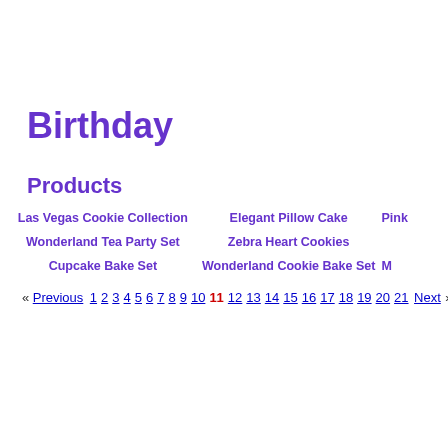Birthday
Products
Las Vegas Cookie Collection
Elegant Pillow Cake
Pink
Wonderland Tea Party Set
Zebra Heart Cookies
Cupcake Bake Set
Wonderland Cookie Bake Set
M
« Previous 1 2 3 4 5 6 7 8 9 10 11 12 13 14 15 16 17 18 19 20 21 Next »